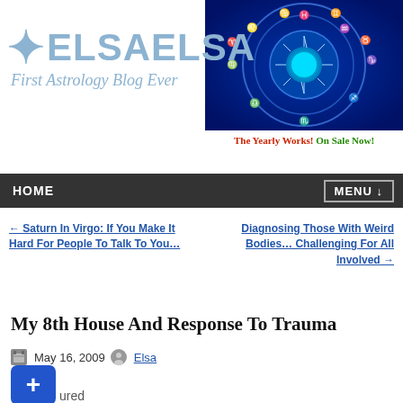[Figure (illustration): Circular zodiac wheel with blue background showing astrological signs and a sun in the center]
The Yearly Works! On Sale Now!
[Figure (logo): ElsaElsa - First Astrology Blog Ever logo with star icon and italic subtitle]
HOME   MENU ↓
← Saturn In Virgo: If You Make It Hard For People To Talk To You…
Diagnosing Those With Weird Bodies… Challenging For All Involved →
My 8th House And Response To Trauma
May 16, 2009   Elsa